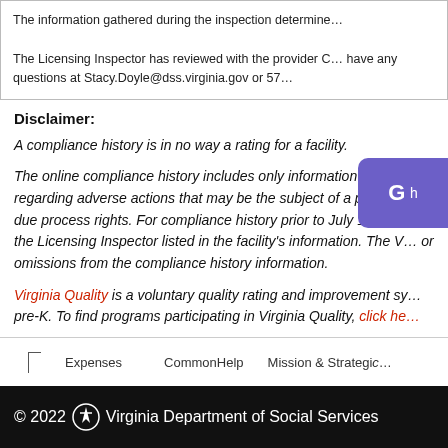The information gathered during the inspection determine...
The Licensing Inspector has reviewed with the provider C... have any questions at Stacy.Doyle@dss.virginia.gov or 57...
Disclaimer:
A compliance history is in no way a rating for a facility.
The online compliance history includes only information after J... regarding adverse actions that may be the subject of a pending... due process rights. For compliance history prior to July 1, 2003... the Licensing Inspector listed in the facility's information. The V... or omissions from the compliance history information.
Virginia Quality is a voluntary quality rating and improvement sy... pre-K. To find programs participating in Virginia Quality, click he...
Expenses   CommonHelp   Mission & Strategic
© 2022 Virginia Department of Social Services